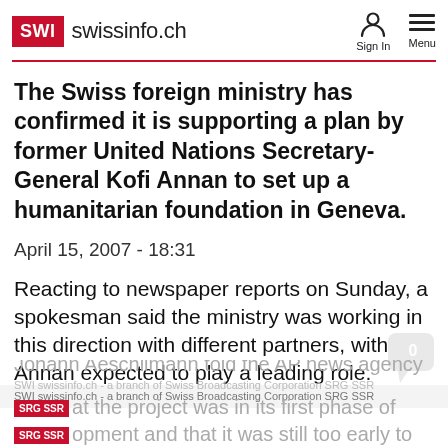SWI swissinfo.ch
The Swiss foreign ministry has confirmed it is supporting a plan by former United Nations Secretary-General Kofi Annan to set up a humanitarian foundation in Geneva.
April 15, 2007 - 18:31
Reacting to newspaper reports on Sunday, a spokesman said the ministry was working in this direction with different partners, with Annan expected to play a leading role.
Johann Aeschlimann told the AP news agency that the project was in its first phase of development and that it was still too early to
SWI swissinfo.ch - a branch of Swiss Broadcasting Corporation SRG SSR